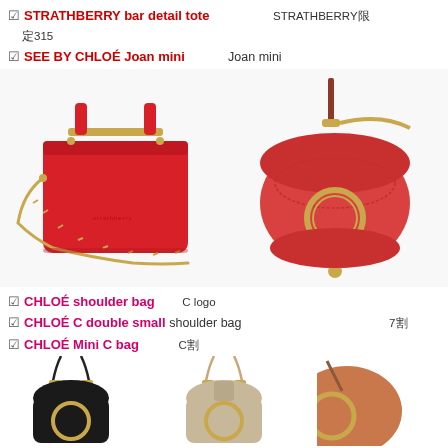☑ STRATHBERRY bar detail tote ［日本語テキスト］STRATHBERRY限定315［日本語テキスト］
☑ SEE BY CHLOÉ Joan mini ［日本語テキスト］ Joan mini ［日本語テキスト］
[Figure (photo): Two red handbags side by side. Left: STRATHBERRY bar detail tote in red leather with gold hardware and chain strap. Right: SEE BY CHLOÉ Joan mini bag in coral red with gold ring detail and tassel charm.]
☑ CHLOÉ shoulder bag ［日本語テキスト］C logo ［日本語テキスト］
☑ CHLOÉ C double small shoulder bag ［日本語テキスト］7割
☑ CHLOÉ Mini C bag ［日本語テキスト］C割
[Figure (photo): Three Chloé handbags shown partially at bottom: left black C bag with gold ring, center beige/cream C bag with gold ring, right partial view of red/tan bag.]